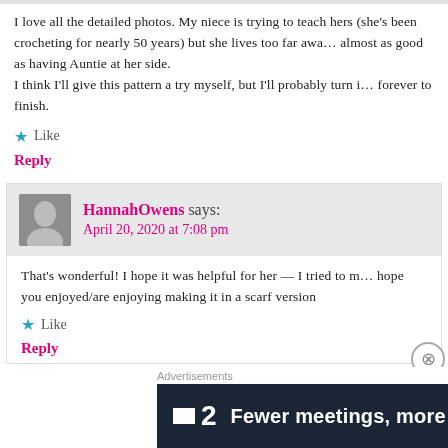I love all the detailed photos. My niece is trying to teach hers (she's been crocheting for nearly 50 years) but she lives too far away, almost as good as having Auntie at her side. I think I'll give this pattern a try myself, but I'll probably turn it into a scarf forever to finish.
★ Like
Reply
HannahOwens says:
April 20, 2020 at 7:08 pm
That's wonderful! I hope it was helpful for her — I tried to make it as clear as possible hope you enjoyed/are enjoying making it in a scarf version
★ Like
Reply
[Figure (other): Advertisement banner: dark background with logo '▣2' and text 'Fewer meetings, more work.']